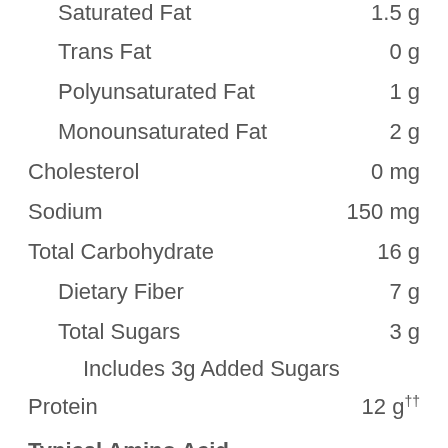Saturated Fat    1.5 g
Trans Fat    0 g
Polyunsaturated Fat    1 g
Monounsaturated Fat    2 g
Cholesterol    0 mg
Sodium    150 mg
Total Carbohydrate    16 g
Dietary Fiber    7 g
Total Sugars    3 g
Includes 3g Added Sugars
Protein    12 g††
Typical Amino Acid Profile per Serving*
Amino Acid    mg/Serving